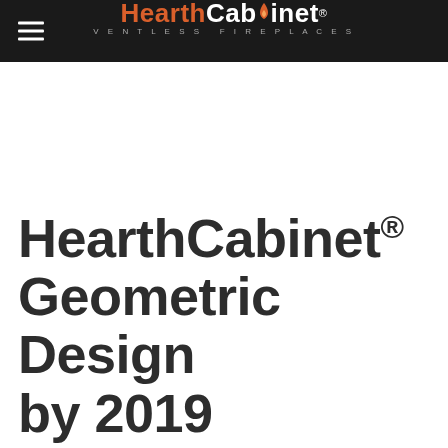HearthCabinet VENTLESS FIREPLACES
HearthCabinet® Geometric Design by 2019